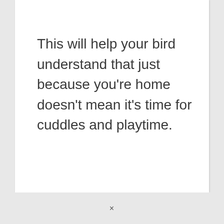This will help your bird understand that just because you're home doesn't mean it's time for cuddles and playtime.
×